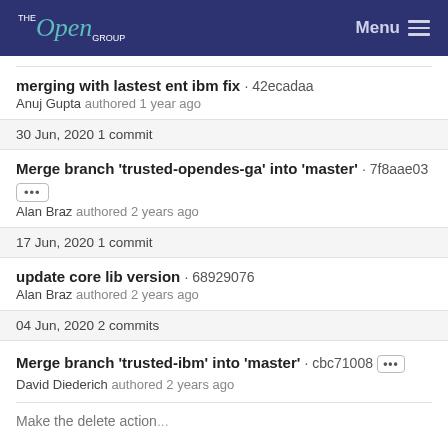THE Open GROUP  Menu
merging with lastest ent ibm fix · 42ecadaa
Anuj Gupta authored 1 year ago
30 Jun, 2020 1 commit
Merge branch 'trusted-opendes-ga' into 'master' · 7f8aae03
••• 
Alan Braz authored 2 years ago
17 Jun, 2020 1 commit
update core lib version · 68929076
Alan Braz authored 2 years ago
04 Jun, 2020 2 commits
Merge branch 'trusted-ibm' into 'master' · cbc71008 ···
David Diederich authored 2 years ago
Make the delete action...